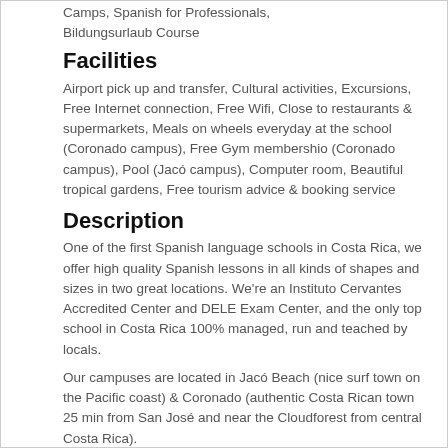Camps, Spanish for Professionals, Bildungsurlaub Course
Facilities
Airport pick up and transfer, Cultural activities, Excursions, Free Internet connection, Free Wifi, Close to restaurants & supermarkets, Meals on wheels everyday at the school (Coronado campus), Free Gym membershio (Coronado campus), Pool (Jacó campus), Computer room, Beautiful tropical gardens, Free tourism advice & booking service
Description
One of the first Spanish language schools in Costa Rica, we offer high quality Spanish lessons in all kinds of shapes and sizes in two great locations. We're an Instituto Cervantes Accredited Center and DELE Exam Center, and the only top school in Costa Rica 100% managed, run and teached by locals.
Our campuses are located in Jacó Beach (nice surf town on the Pacific coast) & Coronado (authentic Costa Rican town 25 min from San José and near the Cloudforest from central Costa Rica).
"Fun classes, serious learning" is our motto. We believe that language learning should be fun to be effective and that it should also include the cultural, social, adventure and nature features of Costa Rica.